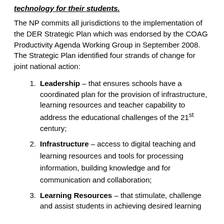technology for their students.
The NP commits all jurisdictions to the implementation of the DER Strategic Plan which was endorsed by the COAG Productivity Agenda Working Group in September 2008. The Strategic Plan identified four strands of change for joint national action:
Leadership – that ensures schools have a coordinated plan for the provision of infrastructure, learning resources and teacher capability to address the educational challenges of the 21st century;
Infrastructure – access to digital teaching and learning resources and tools for processing information, building knowledge and for communication and collaboration;
Learning Resources – that stimulate, challenge and assist students in achieving desired learning